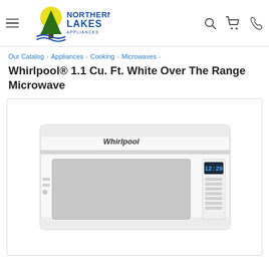Northern Lakes Appliances — navigation header with hamburger menu, logo, search, cart, and phone icons
Our Catalog › Appliances › Cooking › Microwaves ›
Whirlpool® 1.1 Cu. Ft. White Over The Range Microwave
[Figure (photo): White Whirlpool over-the-range microwave with glass door, handle bar, digital clock display showing 12:20, and control buttons on the right side]